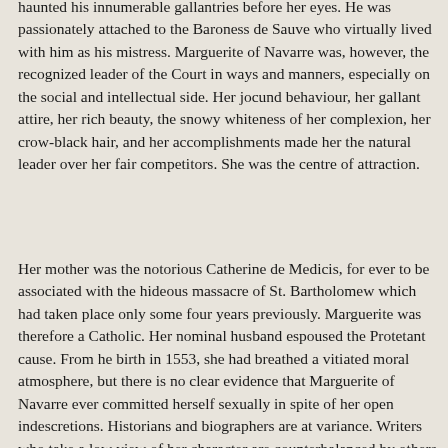haunted his innumerable gallantries before her eyes. He was passionately attached to the Baroness de Sauve who virtually lived with him as his mistress. Marguerite of Navarre was, however, the recognized leader of the Court in ways and manners, especially on the social and intellectual side. Her jocund behaviour, her gallant attire, her rich beauty, the snowy whiteness of her complexion, her crow-black hair, and her accomplishments made her the natural leader over her fair competitors. She was the centre of attraction.
Her mother was the notorious Catherine de Medicis, for ever to be associated with the hideous massacre of St. Bartholomew which had taken place only some four years previously. Marguerite was therefore a Catholic. Her nominal husband espoused the Protetant cause. From he birth in 1553, she had breathed a vitiated moral atmosphere, but there is no clear evidence that Marguerite of Navarre ever committed herself sexually in spite of her open indescretions. Historians and biographers are at variance. Writers who take a low view of her character are counterbalanced by others who are warm in their praises as